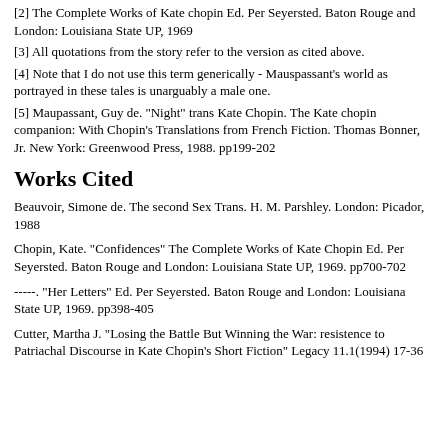[2] The Complete Works of Kate chopin Ed. Per Seyersted. Baton Rouge and London: Louisiana State UP, 1969
[3] All quotations from the story refer to the version as cited above.
[4] Note that I do not use this term generically - Mauspassant's world as portrayed in these tales is unarguably a male one.
[5] Maupassant, Guy de. "Night" trans Kate Chopin. The Kate chopin companion: With Chopin's Translations from French Fiction. Thomas Bonner, Jr. New York: Greenwood Press, 1988. pp199-202
Works Cited
Beauvoir, Simone de. The second Sex Trans. H. M. Parshley. London: Picador, 1988
Chopin, Kate. "Confidences" The Complete Works of Kate Chopin Ed. Per Seyersted. Baton Rouge and London: Louisiana State UP, 1969. pp700-702
-----. "Her Letters" Ed. Per Seyersted. Baton Rouge and London: Louisiana State UP, 1969. pp398-405
Cutter, Martha J. "Losing the Battle But Winning the War: resistence to Patriachal Discourse in Kate Chopin's Short Fiction" Legacy 11.1(1994) 17-36